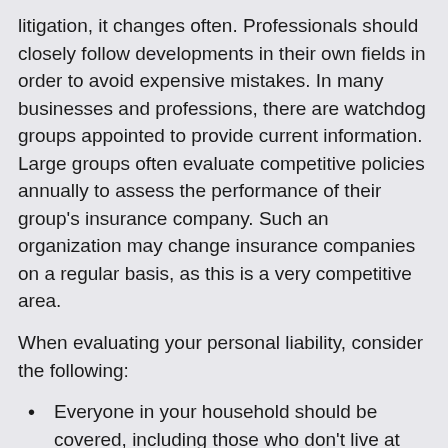litigation, it changes often. Professionals should closely follow developments in their own fields in order to avoid expensive mistakes. In many businesses and professions, there are watchdog groups appointed to provide current information. Large groups often evaluate competitive policies annually to assess the performance of their group’s insurance company. Such an organization may change insurance companies on a regular basis, as this is a very competitive area.
When evaluating your personal liability, consider the following:
Everyone in your household should be covered, including those who don’t live at home.
Your policy should cover physical injuries, libel, slander, invasion of privacy, malicious prosecution, wrongful eviction, defamation of character, and discrimination.
Shop around for the lowest number of